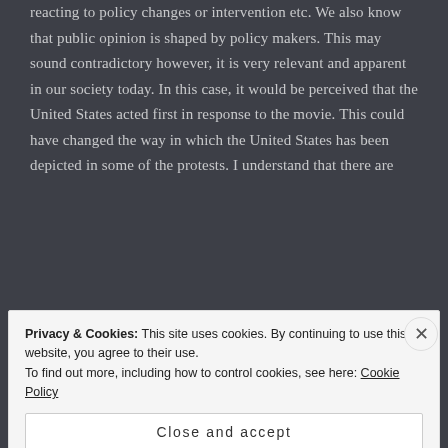reacting to policy changes or intervention etc. We also know that public opinion is shaped by policy makers. This may sound contradictory however, it is very relevant and apparent in our society today. In this case, it would be perceived that the United States acted first in response to the movie. This could have changed the way in which the United States has been depicted in some of the protests. I understand that there are
Privacy & Cookies: This site uses cookies. By continuing to use this website, you agree to their use.
To find out more, including how to control cookies, see here: Cookie Policy
Close and accept